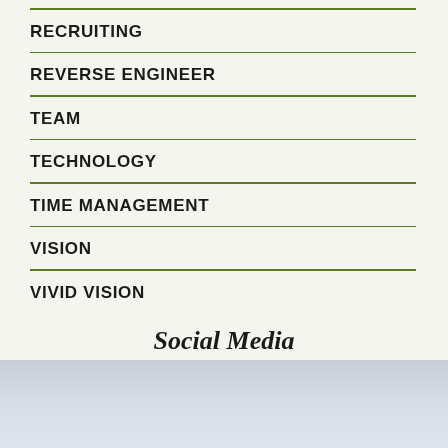RECRUITING
REVERSE ENGINEER
TEAM
TECHNOLOGY
TIME MANAGEMENT
VISION
VIVID VISION
Social Media